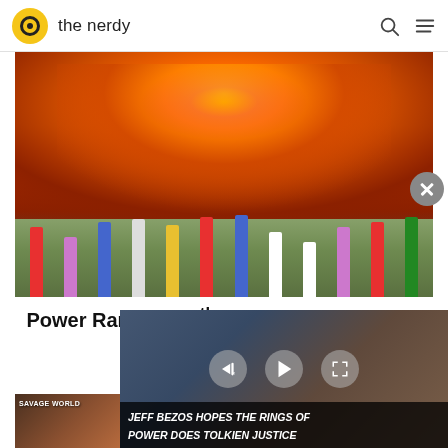the nerdy
[Figure (photo): Power Rangers group photo in front of large explosion fireball, multiple colored rangers in action poses on rocky ground with green vegetation]
Power Rangers 25th Anniversary Roll Call Will Give
TV
[Figure (screenshot): Video player overlay showing blonde woman in crowd scene, with playback controls (mute, play, fullscreen) and caption: JEFF BEZOS HOPES THE RINGS OF POWER DOES TOLKIEN JUSTICE]
[Figure (photo): Bottom thumbnail showing Savage World text with COLLECT THEM ALL! banner in yellow/gold]